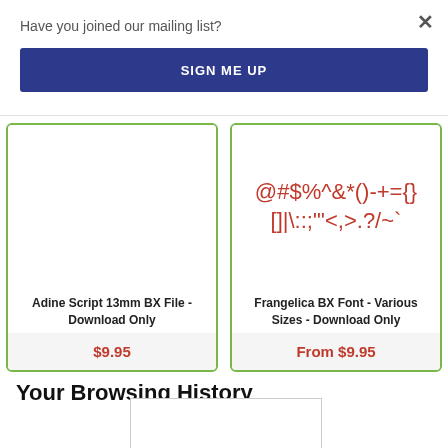Have you joined our mailing list?
×
SIGN ME UP
[Figure (other): Product card left: blank white image area with green border]
Adine Script 13mm BX File - Download Only
$9.95
[Figure (other): Product card right: decorative font specimen showing @#$%^&*()-+={} []|\::;"'<,>.?/~` in red/maroon on white background with green border]
Frangelica BX Font - Various Sizes - Download Only
From $9.95
Your Browsing History
[Figure (other): Empty white box with thin border, part of browsing history section]